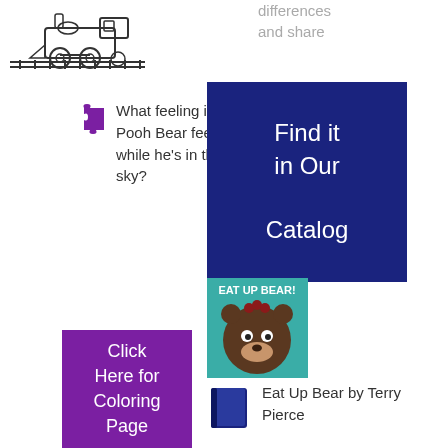[Figure (illustration): Line drawing of a toy train locomotive on tracks, black and white sketch style]
differences and share
[Figure (illustration): Purple puzzle piece icon]
What feeling is Pooh Bear feeling while he's in the sky?
[Figure (other): Dark navy blue button reading 'Find it in Our Catalog' with white text]
[Figure (illustration): Book cover of 'Eat Up Bear!' showing a cartoon bear face on a teal/green background]
[Figure (other): Purple button reading 'Click Here for Coloring Page' with white text]
[Figure (illustration): Dark navy blue open book icon]
Eat Up Bear by Terry Pierce